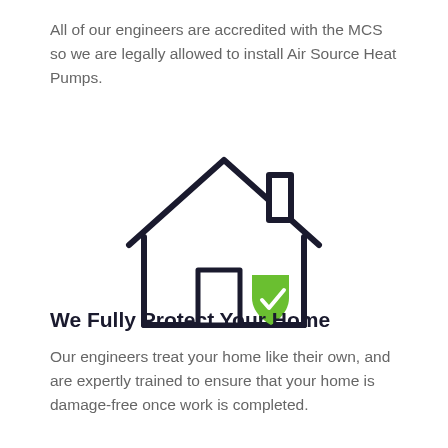All of our engineers are accredited with the MCS so we are legally allowed to install Air Source Heat Pumps.
[Figure (illustration): Line drawing of a house with a chimney and a green shield with a checkmark overlaid on the lower right corner of the house, representing home protection.]
We Fully Protect Your Home
Our engineers treat your home like their own, and are expertly trained to ensure that your home is damage-free once work is completed.